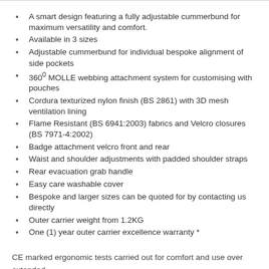A smart design featuring a fully adjustable cummerbund for maximum versatility and comfort.
Available in 3 sizes
Adjustable cummerbund for individual bespoke alignment of side pockets
360° MOLLE webbing attachment system for customising with pouches
Cordura texturized nylon finish (BS 2861) with 3D mesh ventilation lining
Flame Resistant (BS 6941:2003) fabrics and Velcro closures (BS 7971-4:2002)
Badge attachment velcro front and rear
Waist and shoulder adjustments with padded shoulder straps
Rear evacuation grab handle
Easy care washable cover
Bespoke and larger sizes can be quoted for by contacting us directly
Outer carrier weight from 1.2KG
One (1) year outer carrier excellence warranty *
CE marked ergonomic tests carried out for comfort and use over extended periods of use